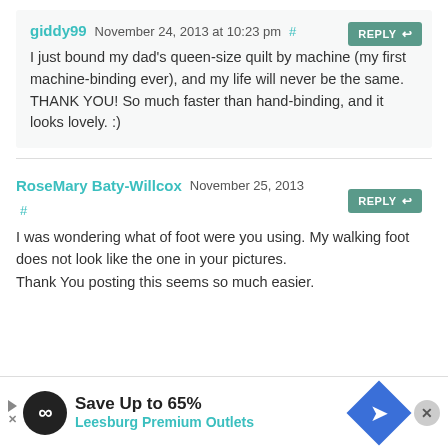giddy99 November 24, 2013 at 10:23 pm #
I just bound my dad's queen-size quilt by machine (my first machine-binding ever), and my life will never be the same. THANK YOU! So much faster than hand-binding, and it looks lovely. :)
RoseMary Baty-Willcox November 25, 2013 # [REPLY]
I was wondering what of foot were you using. My walking foot does not look like the one in your pictures.
Thank You posting this seems so much easier.
[Figure (infographic): Advertisement banner: Save Up to 65% Leesburg Premium Outlets with infinity logo and road sign icon]